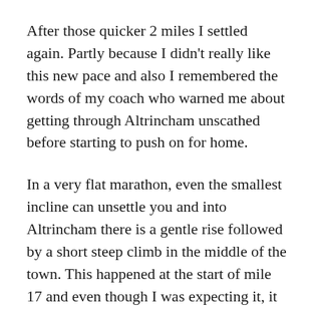After those quicker 2 miles I settled again. Partly because I didn't really like this new pace and also I remembered the words of my coach who warned me about getting through Altrincham unscathed before starting to push on for home.
In a very flat marathon, even the smallest incline can unsettle you and into Altrincham there is a gentle rise followed by a short steep climb in the middle of the town. This happened at the start of mile 17 and even though I was expecting it, it was steeper than I thought.
Suddenly for the first time that day, my current pace was showing over 7 minutes per mile. I wondered how hard to push up the hill, knowing that it wouldn't last